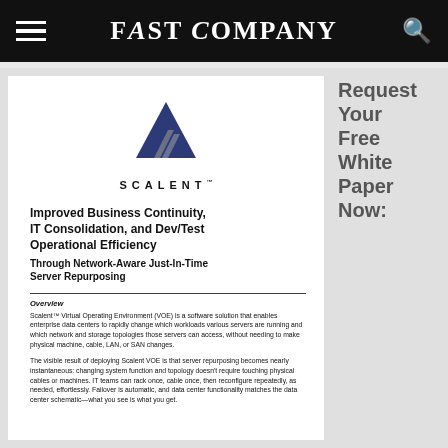FAST COMPANY
[Figure (logo): Scalent logo: stylized dark blue triangular/arrow shape with silver accent stripes, above the word SCALENT in spaced capitals]
Improved Business Continuity, IT Consolidation, and Dev/Test Operational Efficiency
Through Network-Aware Just-In-Time Server Repurposing
Overview
Scalent™ Virtual Operating Environment (VOE) is a software solution that enables enterprise data centers to rapidly change which workloads various servers are running and which network and storage topologies those servers can access, without needing to make physical machine, cable, LAN, or SAN changes.
The visible result of deploying Scalent VOE is that server repurposing becomes nearly instantaneous: changing system function and topology doesn't require touching physical cables or machines. IT teams can rack once, cable once, then reconfigure repeatedly, as needed, effortlessly. Failover is automatic, and data center functionality matches the data center schematic—what you see is what you get.
Request Your Free White Paper Now: